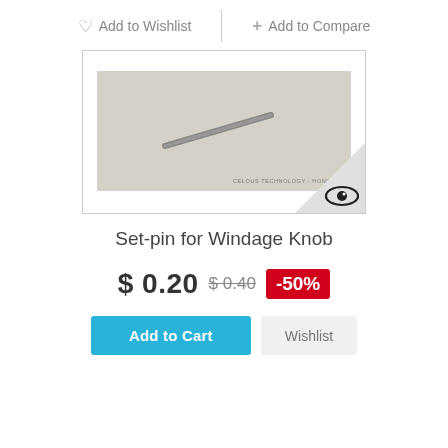Add to Wishlist
+ Add to Compare
[Figure (photo): A small metal set-pin (cylindrical rod) photographed diagonally on a light gray background, with watermark text 'CELOUS TECHNOLOGY - HONG KONG' in the lower right.]
Set-pin for Windage Knob
$ 0.20 $ 0.40 -50%